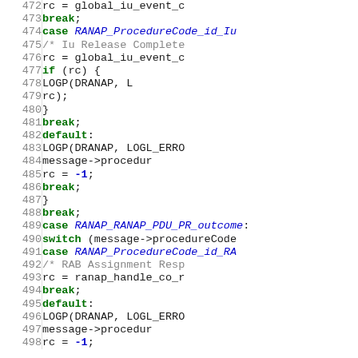[Figure (screenshot): Source code listing showing C code for RANAP message handling, lines 472-498, with line numbers on the left and syntax-highlighted code on the right. Keywords in green bold, identifiers in blue italic, numbers in blue bold, comments in gray.]